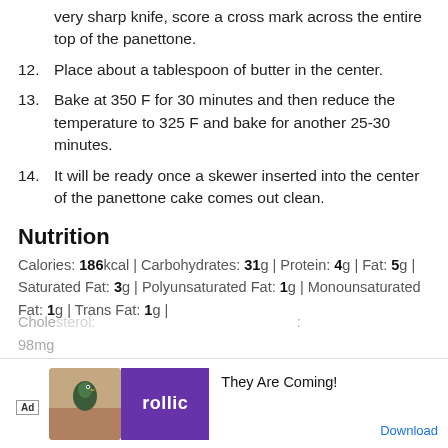very sharp knife, score a cross mark across the entire top of the panettone.
12. Place about a tablespoon of butter in the center.
13. Bake at 350 F for 30 minutes and then reduce the temperature to 325 F and bake for another 25-30 minutes.
14. It will be ready once a skewer inserted into the center of the panettone cake comes out clean.
Nutrition
Calories: 186kcal | Carbohydrates: 31g | Protein: 4g | Fat: 5g | Saturated Fat: 3g | Polyunsaturated Fat: 1g | Monounsaturated Fat: 1g | Trans Fat: 1g | Cholesterol: 98mg ...
[Figure (other): Advertisement overlay: Rollic game app ad with 'Ad' badge, bird image, purple Rollic logo, 'They Are Coming!' text, and 'Download' button]